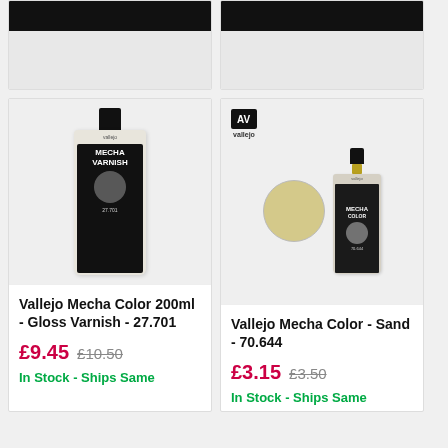[Figure (photo): Top strip of two product cards partially visible at top, cropped]
[Figure (photo): Vallejo Mecha Color 200ml Gloss Varnish bottle product image]
Vallejo Mecha Color 200ml - Gloss Varnish - 27.701
£9.45  £10.50
In Stock - Ships Same
[Figure (photo): Vallejo Mecha Color Sand 70.644 product image with color swatch and small bottle]
Vallejo Mecha Color - Sand - 70.644
£3.15  £3.50
In Stock - Ships Same